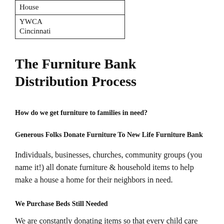| House |
| YWCA
Cincinnati |
The Furniture Bank Distribution Process
How do we get furniture to families in need?
Generous Folks Donate Furniture To New Life Furniture Bank
Individuals, businesses, churches, community groups (you name it!) all donate furniture & household items to help make a house a home for their neighbors in need.
We Purchase Beds Still Needed
We are constantly donating items so that every child care and…